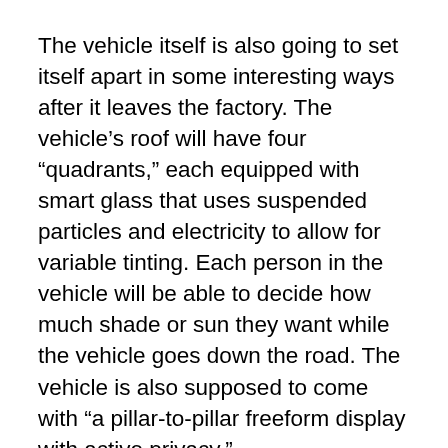The vehicle itself is also going to set itself apart in some interesting ways after it leaves the factory. The vehicle’s roof will have four “quadrants,” each equipped with smart glass that uses suspended particles and electricity to allow for variable tinting. Each person in the vehicle will be able to decide how much shade or sun they want while the vehicle goes down the road. The vehicle is also supposed to come with “a pillar-to-pillar freeform display with active privacy.”
We’d love to show you images of all this, but Cadillac is still keeping its cards relatively close to the vest. On the 8th, GM released a few teaser images of the upcoming vehicle to help stimulate public interest, but none